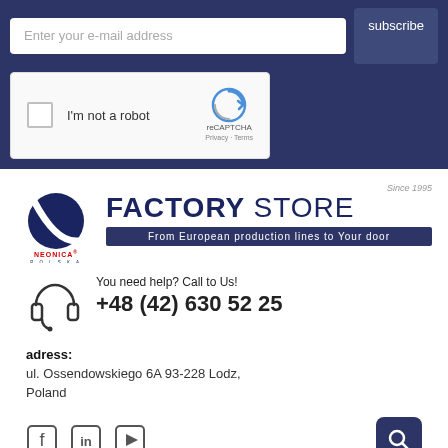[Figure (screenshot): Email subscription form with input field and subscribe button on dark navy background]
[Figure (screenshot): reCAPTCHA widget with checkbox 'I'm not a robot' and Google reCAPTCHA logo]
[Figure (logo): Neonica Polska sp. z o.o. logo and Factory Store branding with tagline 'From European production lines to Your door', Since 1995]
[Figure (infographic): Headset icon with contact text 'You need help? Call to Us!' and phone number +48 (42) 630 52 25]
adress: ul. Ossendowskiego 6A 93-228 Lodz, Poland
[Figure (infographic): Social media icons: Facebook, LinkedIn, YouTube, and a search button]
COMPANY